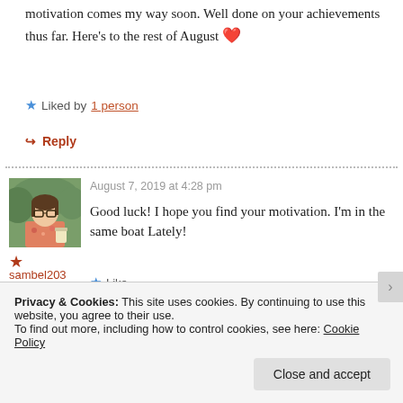motivation comes my way soon. Well done on your achievements thus far. Here’s to the rest of August ❤️
Liked by 1 person
↪ Reply
[Figure (photo): Avatar photo of a woman with glasses holding a drink, outdoors with green foliage background]
August 7, 2019 at 4:28 pm
Good luck! I hope you find your motivation. I’m in the same boat Lately!
sambel203
Like
Privacy & Cookies: This site uses cookies. By continuing to use this website, you agree to their use.
To find out more, including how to control cookies, see here: Cookie Policy
Close and accept